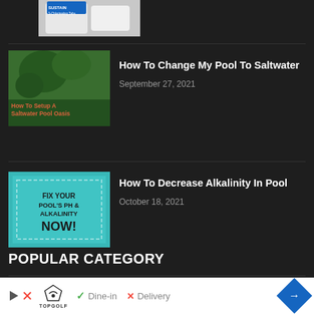[Figure (photo): Partial product image cut off at top of page - appears to be a pool chemical product (Sustain brand) in white container]
[Figure (photo): Thumbnail image of outdoor pool area with trees, overlaid text: How To Setup A Saltwater Pool Oasis in red/orange text]
How To Change My Pool To Saltwater
September 27, 2021
[Figure (photo): Thumbnail image with teal/cyan background showing text: FIX YOUR POOL'S PH & ALKALINITY NOW!]
How To Decrease Alkalinity In Pool
October 18, 2021
POPULAR CATEGORY
Ground419
Editor Picks310
[Figure (screenshot): Advertisement banner: TopGolf ad showing Dine-in with green checkmark and Delivery with red X]